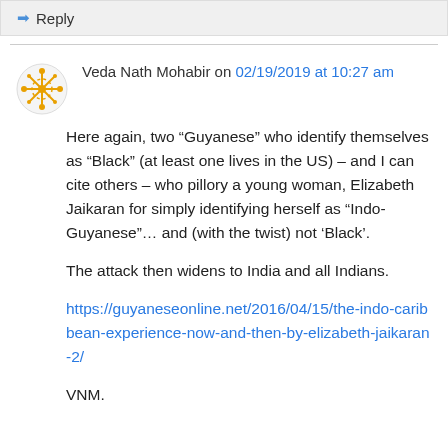Reply
Veda Nath Mohabir on 02/19/2019 at 10:27 am
Here again, two “Guyanese” who identify themselves as “Black” (at least one lives in the US) – and I can cite others – who pillory a young woman, Elizabeth Jaikaran for simply identifying herself as “Indo-Guyanese”… and (with the twist) not ‘Black’.
The attack then widens to India and all Indians.
https://guyaneseonline.net/2016/04/15/the-indo-caribbean-experience-now-and-then-by-elizabeth-jaikaran-2/
VNM.